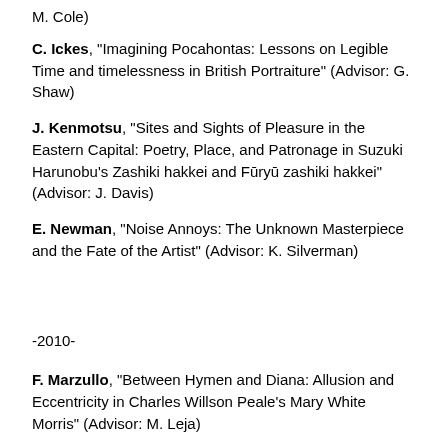M. Cole)
C. Ickes, "Imagining Pocahontas:  Lessons on Legible Time and timelessness in British Portraiture" (Advisor:  G. Shaw)
J. Kenmotsu, "Sites and Sights of Pleasure in the Eastern Capital:  Poetry, Place, and Patronage in Suzuki Harunobu’s Zashiki hakkei and Fūryū zashiki hakkei" (Advisor:  J. Davis)
E. Newman, "Noise Annoys:  The Unknown Masterpiece and the Fate of the Artist" (Advisor:  K. Silverman)
-2010-
F. Marzullo, "Between Hymen and Diana:  Allusion and Eccentricity in Charles Willson Peale’s  Mary White Morris" (Advisor:  M. Leja)
A. Venator, "A Woman Who Needs No Introduction:  Yoko Ono" (Advisor:  C. Poggi)